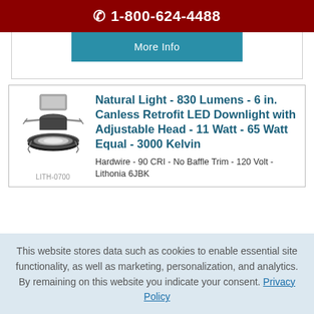☎ 1-800-624-4488
More Info
Natural Light - 830 Lumens - 6 in. Canless Retrofit LED Downlight with Adjustable Head - 11 Watt - 65 Watt Equal - 3000 Kelvin
LITH-0700
Hardwire - 90 CRI - No Baffle Trim - 120 Volt - Lithonia 6JBK
This website stores data such as cookies to enable essential site functionality, as well as marketing, personalization, and analytics. By remaining on this website you indicate your consent. Privacy Policy